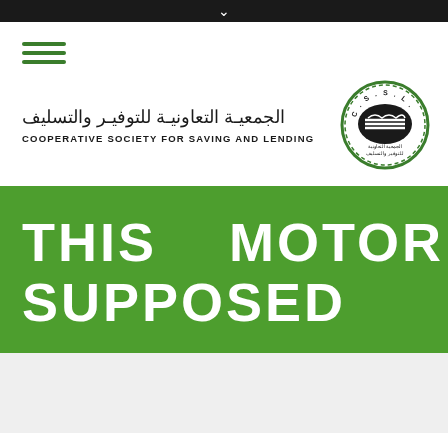[Figure (logo): Dark top navigation bar with a down chevron arrow icon centered]
[Figure (logo): Hamburger menu icon with three green horizontal lines]
[Figure (logo): CSSL logo: circular green wreath border with C.S.S.L. text, handshake graphic in center, Arabic text below. Organization name in Arabic: الجمعية التعاونية للتوفير والتسليف and English: COOPERATIVE SOCIETY FOR SAVING AND LENDING]
THIS MOTOR IS SUPPOSED TO